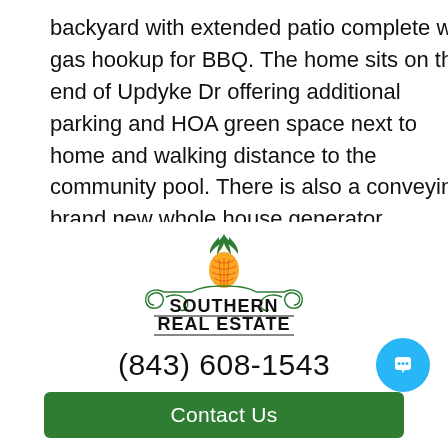backyard with extended patio complete with gas hookup for BBQ. The home sits on the end of Updyke Dr offering additional parking and HOA green space next to home and walking distance to the community pool. There is also a conveying brand new whole house generator.
[Figure (logo): Southern Real Estate logo with a pineapple above decorative scrollwork and the text SOUTHERN REAL ESTATE in bold black letters]
(843) 608-1543
Contact Us